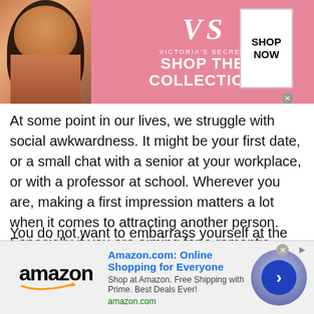[Figure (photo): Victoria's Secret advertisement banner with a model on the left, VS logo and 'SHOP THE COLLECTION' text in center on pink background, and 'SHOP NOW' button on right]
At some point in our lives, we struggle with social awkwardness. It might be your first date, or a small chat with a senior at your workplace, or with a professor at school. Wherever you are, making a first impression matters a lot when it comes to attracting another person. Especially if you are aiming for a romantic relationship.
You do not want to embarrass yourself at the interview for a new job. You might be thinking, “Been there, done that!” But not anymore! The random stranger chat at the
[Figure (photo): Amazon advertisement banner with Amazon logo on left, headline 'Amazon.com: Online Shopping for Everyone', subtitle 'Shop at Amazon. Free Shipping with Prime. Best Deals Ever!', amazon.com URL, and a blue circular button with arrow on right]